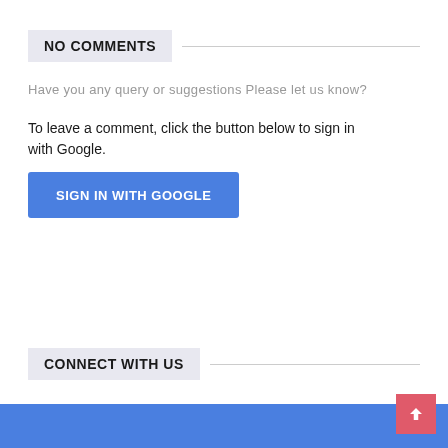NO COMMENTS
Have you any query or suggestions Please let us know?
To leave a comment, click the button below to sign in with Google.
SIGN IN WITH GOOGLE
CONNECT WITH US